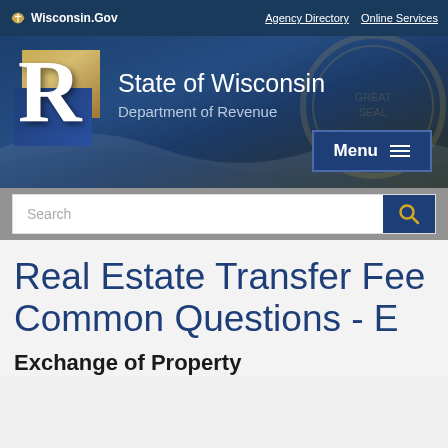Wisconsin.Gov | Agency Directory | Online Services
[Figure (screenshot): Wisconsin Department of Revenue website header banner with logo (stylized R in gold and blue blocks), 'State of Wisconsin Department of Revenue' text, and a Menu button on a dark blue background with wave design]
[Figure (screenshot): Search bar with text input field and blue search button with magnifying glass icon]
Real Estate Transfer Fee Common Questions - E
Exchange of Property